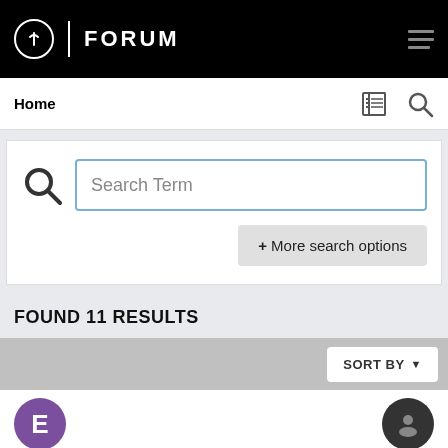FORUM
Home
Search Term
+ More search options
FOUND 11 RESULTS
SORT BY